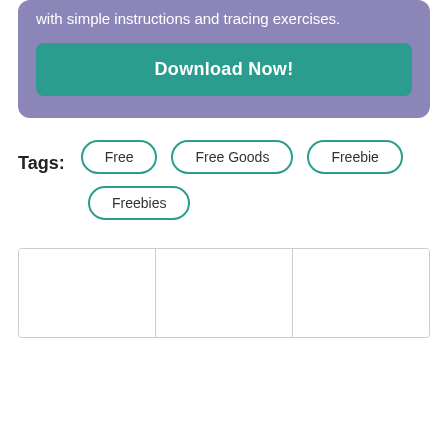with simple instructions and tracing exercises.
Download Now!
Tags: Free  Free Goods  Freebie  Freebies
[Figure (other): Three empty white grid cells at the bottom of the page]